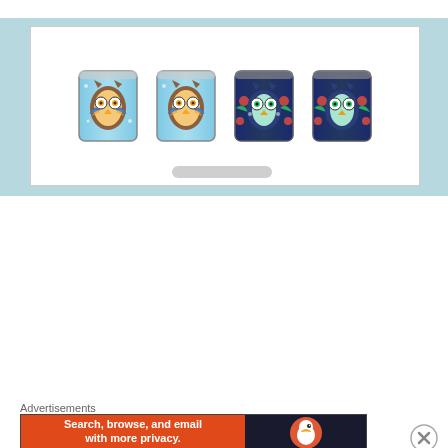[Figure (photo): Product photo showing four decorative cups/tumblers with owl designs — two light blue cups with colorful owl motifs on the left, and two dark navy blue cups with floral owl designs on the right, displayed in a white product showcase area with a light blue background.]
Stainless Steel and Aluminium Kettles
:
Check out this blog of ours for more information on Stainless Steel and
Advertisements
[Figure (screenshot): DuckDuckGo advertisement banner with orange background on the left reading 'Search, browse, and email with more privacy. All in One Free App' and dark background on the right showing the DuckDuckGo duck logo and brand name.]